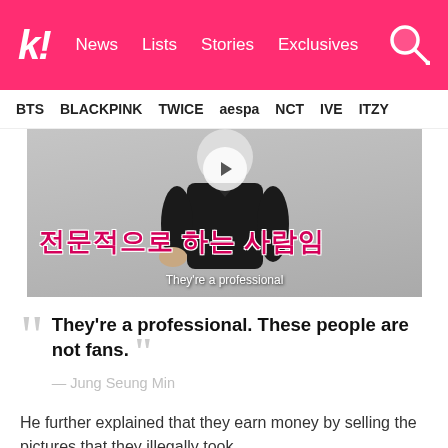k! News  Lists  Stories  Exclusives
BTS  BLACKPINK  TWICE  aespa  NCT  IVE  ITZY
[Figure (photo): Video thumbnail showing a person in black clothing with Korean text overlay reading 전문적으로 하는 사람임 and English subtitle They're a professional]
“They're a professional. These people are not fans.” — Jung Seung Min
He further explained that they earn money by selling the pictures that they illegally took.